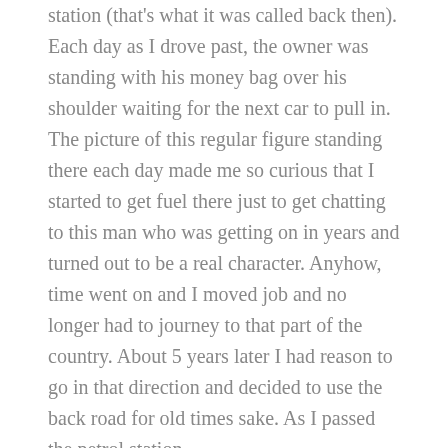station (that's what it was called back then). Each day as I drove past, the owner was standing with his money bag over his shoulder waiting for the next car to pull in. The picture of this regular figure standing there each day made me so curious that I started to get fuel there just to get chatting to this man who was getting on in years and turned out to be a real character. Anyhow, time went on and I moved job and no longer had to journey to that part of the country. About 5 years later I had reason to go in that direction and decided to use the back road for old times sake. As I passed the petrol station,